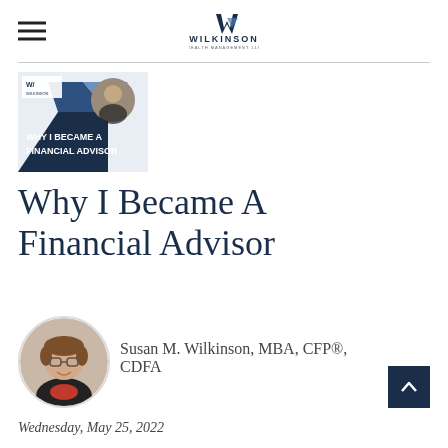Wilkinson Wealth Management LLC
[Figure (illustration): Thumbnail image for 'Why I Became a Financial Advisor' article with Wilkinson branding, dark blue geometric shapes, photo of woman, and white bold text overlay reading 'WHY I BECAME A FINANCIAL ADVISOR']
Why I Became A Financial Advisor
[Figure (photo): Circular cropped headshot photo of Susan M. Wilkinson, a woman with short brown hair, glasses, and a black jacket, smiling]
Susan M. Wilkinson, MBA, CFP®, CDFA
Wednesday, May 25, 2022